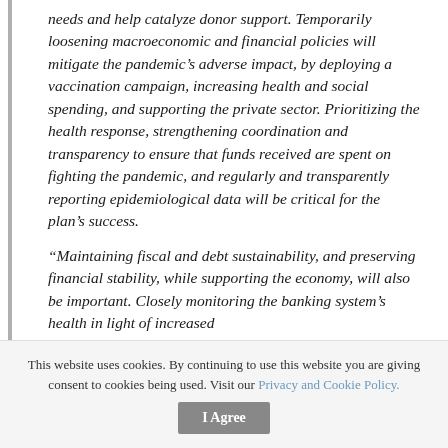needs and help catalyze donor support. Temporarily loosening macroeconomic and financial policies will mitigate the pandemic’s adverse impact, by deploying a vaccination campaign, increasing health and social spending, and supporting the private sector. Prioritizing the health response, strengthening coordination and transparency to ensure that funds received are spent on fighting the pandemic, and regularly and transparently reporting epidemiological data will be critical for the plan’s success.
“Maintaining fiscal and debt sustainability, and preserving financial stability, while supporting the economy, will also be important. Closely monitoring the banking system’s health in light of increased
This website uses cookies. By continuing to use this website you are giving consent to cookies being used. Visit our Privacy and Cookie Policy.